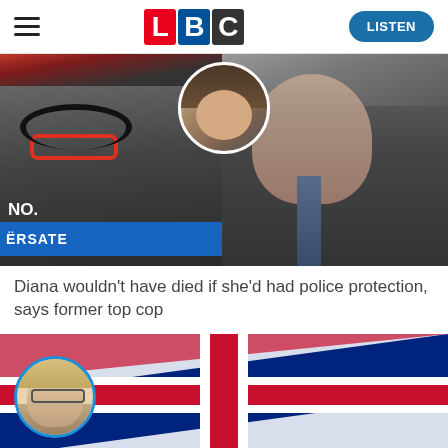[Figure (screenshot): LBC website header with hamburger menu on left, LBC logo in center (L in red, B in blue, C in dark grey), and LISTEN button on right]
[Figure (photo): Composite news image: left half shows a man with red glasses and headphones (radio host Nick Ferrari) against LBC studio background with blue banner reading CONVERSAT; right half shows an older man in suit; top center has a circular inset photo of a woman (Princess Diana)]
Diana wouldn't have died if she'd had police protection, says former top cop
[Figure (photo): Second article thumbnail: Union Jack flag background with circular inset photo of a blonde woman wearing glasses]